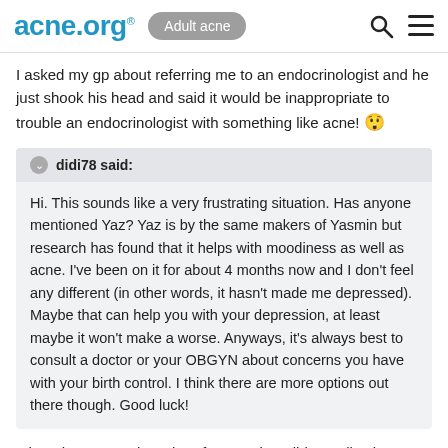acne.org® | Adult acne
I asked my gp about referring me to an endocrinologist and he just shook his head and said it would be inappropriate to trouble an endocrinologist with something like acne! 😲
didi78 said:
Hi. This sounds like a very frustrating situation. Has anyone mentioned Yaz? Yaz is by the same makers of Yasmin but research has found that it helps with moodiness as well as acne. I've been on it for about 4 months now and I don't feel any different (in other words, it hasn't made me depressed). Maybe that can help you with your depression, at least maybe it won't make a worse. Anyways, it's always best to consult a doctor or your OBGYN about concerns you have with your birth control. I think there are more options out there though. Good luck!
I thought yaz was just short for yasmin! I didnt realise it was a